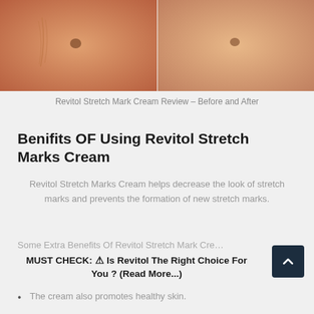[Figure (photo): Before and after comparison photo showing abdomen/stomach area with stretch marks on left side and smoother skin on right side]
Revitol Stretch Mark Cream Review – Before and After
Benifits OF Using Revitol Stretch Marks Cream
Revitol Stretch Marks Cream helps decrease the look of stretch marks and prevents the formation of new stretch marks.
Some Extra Benefits Of Revitol Stretch Mark Cre…
MUST CHECK: ⚠ Is Revitol The Right Choice For You ? (Read More...)
The cream also promotes healthy skin.